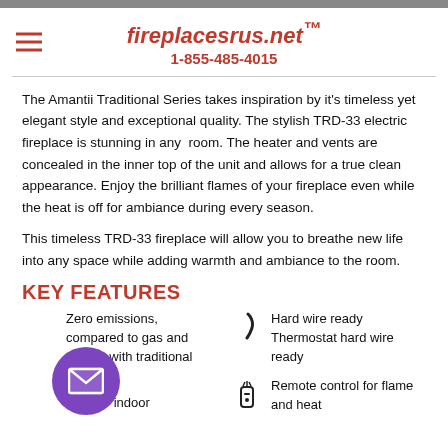fireplacesrus.net™
1-855-485-4015
The Amantii Traditional Series takes inspiration by it's timeless yet elegant style and exceptional quality. The stylish TRD-33 electric fireplace is stunning in any room. The heater and vents are concealed in the inner top of the unit and allows for a true clean appearance. Enjoy the brilliant flames of your fireplace even while the heat is off for ambiance during every season.
This timeless TRD-33 fireplace will allow you to breathe new life into any space while adding warmth and ambiance to the room.
KEY FEATURES
Zero emissions, compared to gas and wood, but with traditional looks
Rated for indoor
Hard wire ready
Thermostat hard wire ready
Remote control for flame and heat